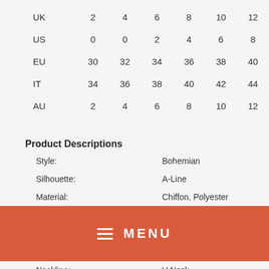|  | 2 | 4 | 6 | 8 | 10 | 12 |
| --- | --- | --- | --- | --- | --- | --- |
| UK | 2 | 4 | 6 | 8 | 10 | 12 |
| US | 0 | 0 | 2 | 4 | 6 | 8 |
| EU | 30 | 32 | 34 | 36 | 38 | 40 |
| IT | 34 | 36 | 38 | 40 | 42 | 44 |
| AU | 2 | 4 | 6 | 8 | 10 | 12 |
Product Descriptions
|  |  |
| --- | --- |
| Style: | Bohemian |
| Silhouette: | A-Line |
| Material: | Chiffon, Polyester |
[Figure (other): Red menu bar with hamburger icon and MENU text]
|  |  |
| --- | --- |
| Neckline: | V-Neck |